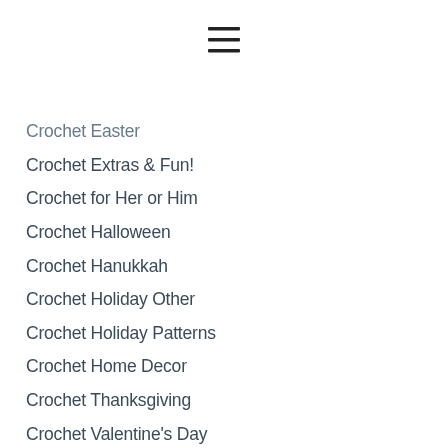[Figure (other): Hamburger menu icon (three horizontal lines)]
Crochet Easter
Crochet Extras & Fun!
Crochet for Her or Him
Crochet Halloween
Crochet Hanukkah
Crochet Holiday Other
Crochet Holiday Patterns
Crochet Home Decor
Crochet Thanksgiving
Crochet Valentine's Day
How-To
Knit
Knit Afghan
Knit Baby/Toddler/Kids
Knit Extras & Fun!